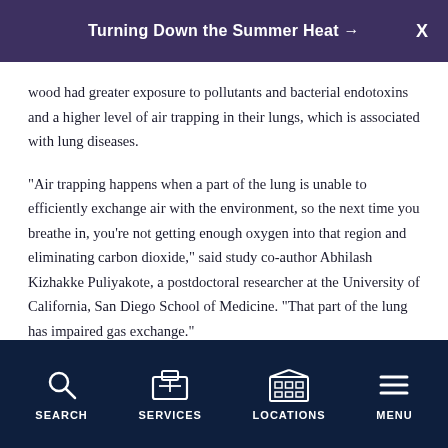Turning Down the Summer Heat →
wood had greater exposure to pollutants and bacterial endotoxins and a higher level of air trapping in their lungs, which is associated with lung diseases.
"Air trapping happens when a part of the lung is unable to efficiently exchange air with the environment, so the next time you breathe in, you're not getting enough oxygen into that region and eliminating carbon dioxide," said study co-author Abhilash Kizhakke Puliyakote, a postdoctoral researcher at the University of California, San Diego School of Medicine. "That part of the lung has impaired gas exchange."
SEARCH   SERVICES   LOCATIONS   MENU